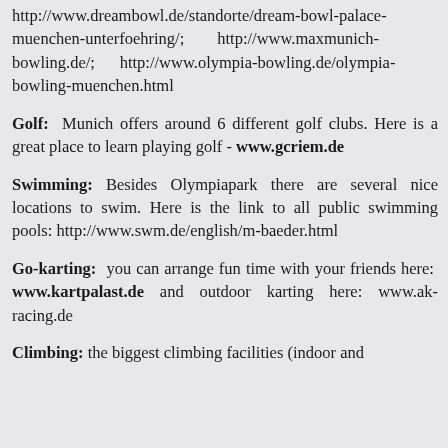http://www.dreambowl.de/standorte/dream-bowl-palace-muenchen-unterfoehring/; http://www.maxmunich-bowling.de/; http://www.olympia-bowling.de/olympia-bowling-muenchen.html
Golf: Munich offers around 6 different golf clubs. Here is a great place to learn playing golf - www.gcriem.de
Swimming: Besides Olympiapark there are several nice locations to swim. Here is the link to all public swimming pools: http://www.swm.de/english/m-baeder.html
Go-karting: you can arrange fun time with your friends here: www.kartpalast.de and outdoor karting here: www.ak-racing.de
Climbing: the biggest climbing facilities (indoor and outdoor) can be found here: